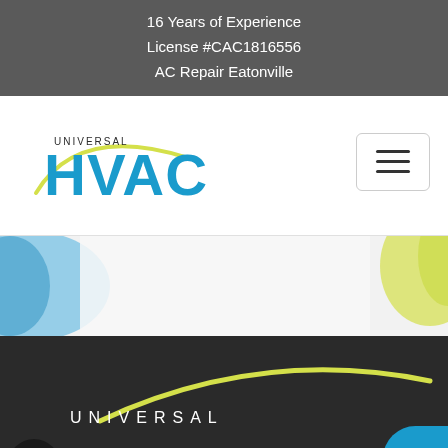16 Years of Experience
License #CAC1816556
AC Repair Eatonville
[Figure (logo): Universal HVAC logo with blue HVAC text and yellow swoosh accent]
[Figure (illustration): Navigation hamburger menu button with three horizontal lines]
[Figure (illustration): Hero banner area with blue and yellow gradient design elements on light background]
[Figure (logo): Universal HVAC dark section logo with yellow swoosh, white UNIVERSAL text, blue HVAC text, SMS bubble button, and phone button]